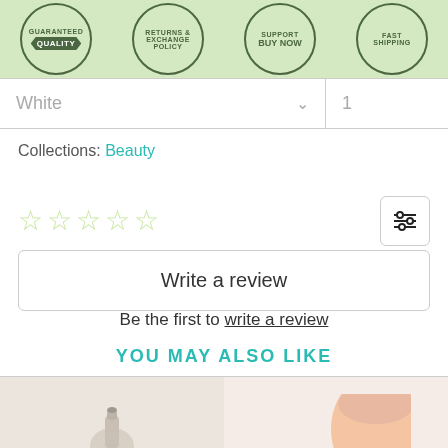[Figure (infographic): Green banner with four circular badge icons: GUARANTEED QUALITY, RETURNS & EXCHANGE POLICY, SUPPORT (BUY NOW), FAST SHIPPING]
White  ∨   1
Collections: Beauty
[Figure (other): Five empty star rating icons in light green color, with a filter/settings icon button on the right]
Write a review
Be the first to write a review
YOU MAY ALSO LIKE
[Figure (photo): Two product images: a skincare product on the left and a person's face (close-up) on the right]